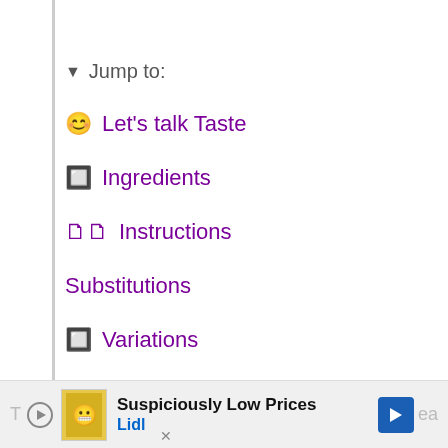▼ Jump to:
😊 Let's talk Taste
🔲 Ingredients
📋📋 Instructions
Substitutions
🔲 Variations
🔲 Storage
🔲 Top tips
[Figure (advertisement): Lidl advertisement banner with 'Suspiciously Low Prices' text and Lidl branding, with navigation arrow icon]